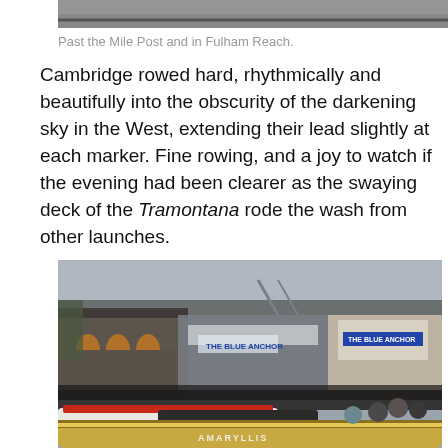[Figure (photo): Top portion of a photo showing a river scene, cropped at the top of the page]
Past the Mile Post and in Fulham Reach.
Cambridge rowed hard, rhythmically and beautifully into the obscurity of the darkening sky in the West, extending their lead slightly at each marker. Fine rowing, and a joy to watch if the evening had been clearer as the swaying deck of the Tramontana rode the wash from other launches.
[Figure (photo): Crowded riverbank scene with spectators on buildings including The Blue Anchor pub, with launches and boats in the foreground including the Amaryllis, during the Boat Race]